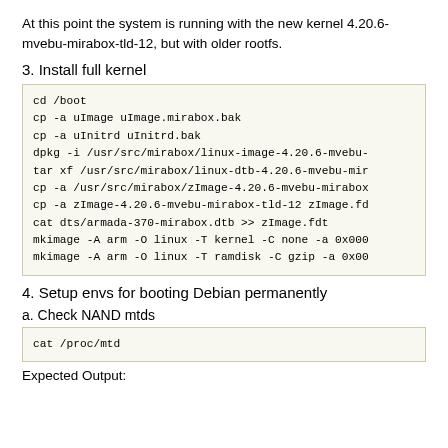At this point the system is running with the new kernel 4.20.6-mvebu-mirabox-tld-12, but with older rootfs.
3. Install full kernel
[Figure (screenshot): Code block showing shell commands: cd /boot, cp -a uImage uImage.mirabox.bak, cp -a uInitrd uInitrd.bak, dpkg -i /usr/src/mirabox/linux-image-4.20.6-mvebu-, tar xf /usr/src/mirabox/linux-dtb-4.20.6-mvebu-mir, cp -a /usr/src/mirabox/zImage-4.20.6-mvebu-mirabox, cp -a zImage-4.20.6-mvebu-mirabox-tld-12 zImage.fd, cat dts/armada-370-mirabox.dtb >> zImage.fdt, mkimage -A arm -O linux -T kernel -C none -a 0x000, mkimage -A arm -O linux -T ramdisk -C gzip -a 0x00]
4. Setup envs for booting Debian permanently
a. Check NAND mtds
[Figure (screenshot): Code block: cat /proc/mtd]
Expected Output: